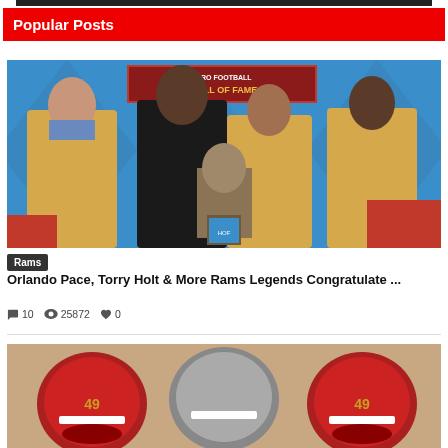[Figure (photo): Top black bar / banner image cropped at top of page]
Popular Posts
[Figure (photo): Four men in gold Hall of Fame blazers standing around a bronze bust at the Pro Football Hall of Fame. Background shows 'Pro Football Hall of Fame' signage.]
Rams
Orlando Pace, Torry Holt & More Rams Legends Congratulate ...
10  25872  0
[Figure (photo): Partial image of football helmets at bottom of page, appears to be 49ers helmets.]